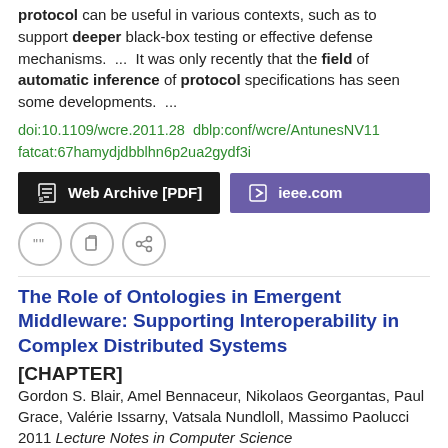protocol can be useful in various contexts, such as to support deeper black-box testing or effective defense mechanisms.  ...  It was only recently that the field of automatic inference of protocol specifications has seen some developments.  ...
doi:10.1109/wcre.2011.28  dblp:conf/wcre/AntunesNV11  fatcat:67hamydjdbblhn6p2ua2gydf3i
Web Archive [PDF]   ieee.com
The Role of Ontologies in Emergent Middleware: Supporting Interoperability in Complex Distributed Systems [CHAPTER]
Gordon S. Blair, Amel Bennaceur, Nikolaos Georgantas, Paul Grace, Valérie Issarny, Vatsala Nundloll, Massimo Paolucci
2011 Lecture Notes in Computer Science
In this paper, we postulate that emergent middleware is the right way forward; emergent middleware is a dynamically generated distributed system infrastructure for the current operating environment and  ...  For example, assume the incoming packet to be Broadcomm and the existing packet to be BBR. Fig. 7. Inferred